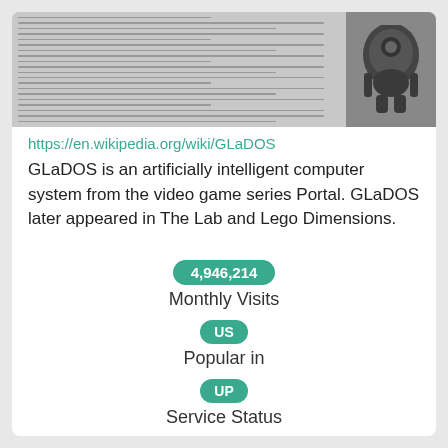[Figure (screenshot): Thumbnail screenshot of Wikipedia GLaDOS article page with a robot/GLaDOS image on the right]
https://en.wikipedia.org/wiki/GLaDOS
GLaDOS is an artificially intelligent computer system from the video game series Portal. GLaDOS later appeared in The Lab and Lego Dimensions.
4,946,214
Monthly Visits
US
Popular in
UP
Service Status
6h ago
Last Checked